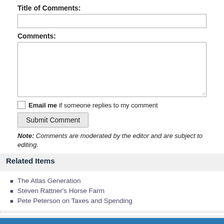Title of Comments:
Comments:
Email me if someone replies to my comment
Submit Comment
Note: Comments are moderated by the editor and are subject to editing.
Related Items
The Atlas Generation
Steven Rattner's Horse Farm
Pete Peterson on Taxes and Spending
Follow Us On:
[Figure (other): Social media icons: Facebook, Twitter, Google+, YouTube]